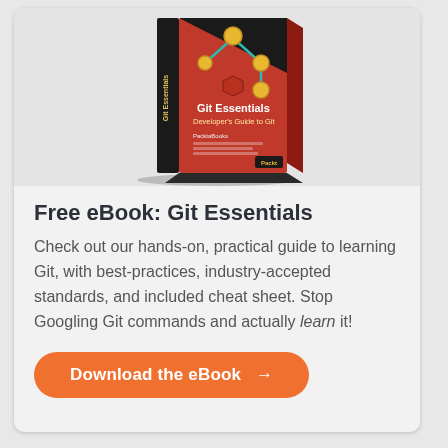[Figure (illustration): 3D book cover of 'Git Essentials: Developer's Guide to Git' with red, black and teal design, yellow/gold circular nodes on a network diagram, Packt publisher logo]
Free eBook: Git Essentials
Check out our hands-on, practical guide to learning Git, with best-practices, industry-accepted standards, and included cheat sheet. Stop Googling Git commands and actually learn it!
Download the eBook →